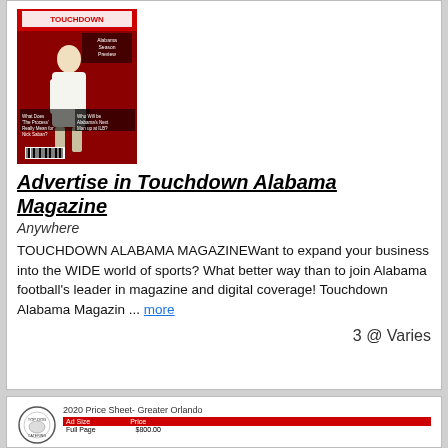[Figure (photo): Touchdown Alabama Magazine cover showing a football coach in white clothing with text 'Alabama Season Preview', 'What Does The Process Really Mean for Nick Saban', 'Who Will be Alabama's Next Man up at ILB']
Advertise in Touchdown Alabama Magazine
Anywhere
TOUCHDOWN ALABAMA MAGAZINEWant to expand your business into the WIDE world of sports? What better way than to join Alabama football's leader in magazine and digital coverage! Touchdown Alabama Magazin ... more
3 @ Varies
[Figure (screenshot): 2020 Price Sheet - Greater Orlando with Top Dog logo, showing a table with Ad Size and Price columns, header row in red]